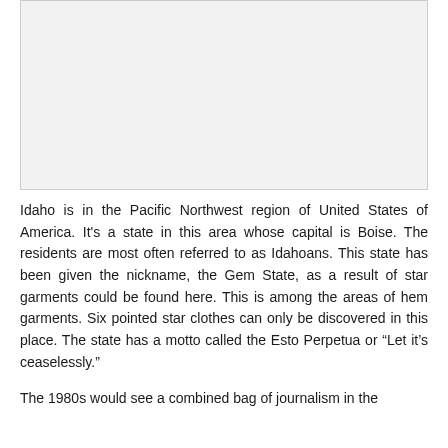[Figure (photo): A large light gray placeholder image area at the top of the page.]
Idaho is in the Pacific Northwest region of United States of America. It's a state in this area whose capital is Boise. The residents are most often referred to as Idahoans. This state has been given the nickname, the Gem State, as a result of star garments could be found here. This is among the areas of hem garments. Six pointed star clothes can only be discovered in this place. The state has a motto called the Esto Perpetua or “Let it’s ceaselessly.”
The 1980s would see a combined bag of journalism in the music trade, with the big box...